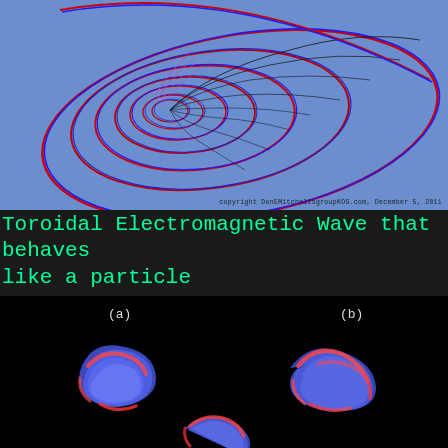[Figure (illustration): Toroidal electromagnetic wave visualization on blue background showing spiraling red, blue, and black curved lines forming a toroidal pattern. Copyright DonEMitchellsgroupKOS.com, December 5, 2011.]
Toroidal Electromagnetic Wave that behaves like a particle
[Figure (illustration): Three 3D rendered toroidal knot shapes on black background. (a) a trefoil knot shape in blue and red, (b) a figure-eight knot in blue and red, and a third partial knot visible at the bottom.]